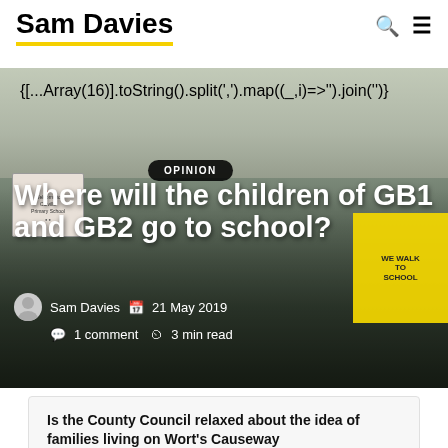Sam Davies
[Figure (photo): Photograph of Colville Primary School building exterior with a welcome sign in the foreground and a 'We Walk to School' banner visible on the right side.]
OPINION — Where will the children of GB1 and GB2 go to school?
Sam Davies  21 May 2019  1 comment  3 min read
Is the County Council relaxed about the idea of families living on Wort's Causeway